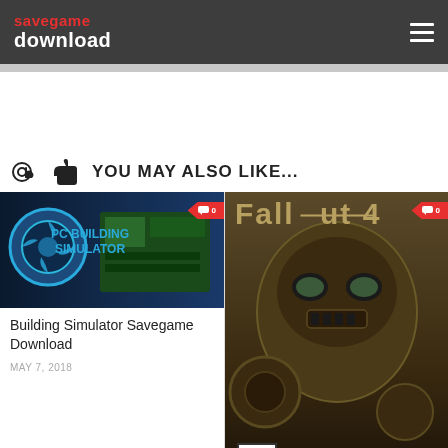savegame download
YOU MAY ALSO LIKE...
[Figure (screenshot): PC Building Simulator game cover image with comment badge showing 0]
Building Simulator Savegame Download
MAY 7, 2018
[Figure (screenshot): Fallout 4 game cover image with comment badge showing 0]